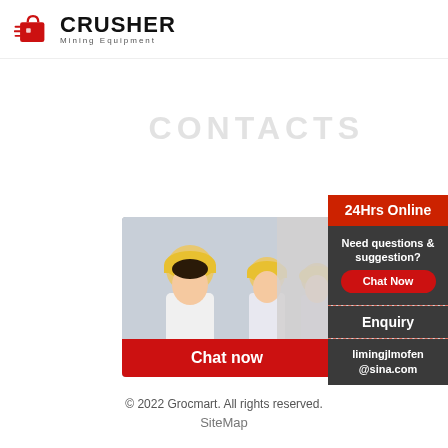[Figure (logo): CRUSHER Mining Equipment logo with red shopping bag icon on left and bold CRUSHER text]
CONTACTS
[Figure (infographic): Live chat popup banner with engineers in hard hats, LIVE CHAT heading, Click for a Free Consultation subtitle, Chat now and Chat later buttons, and headset woman on right]
[Figure (infographic): Right side panel: 24Hrs Online (orange), Need questions & suggestion? Chat Now button (dark), Enquiry label, limingjlmofen@sina.com email]
© 2022 Grocmart. All rights reserved.
SiteMap